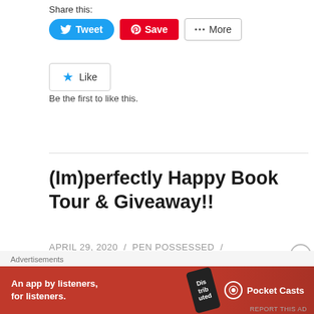Share this:
[Figure (screenshot): Social sharing buttons: Tweet (blue), Save (red/Pinterest), More (outlined)]
[Figure (screenshot): Like button with star icon]
Be the first to like this.
(Im)perfectly Happy Book Tour & Giveaway!!
APRIL 29, 2020 / PEN POSSESSED /
[Figure (screenshot): Pocket Casts advertisement banner: An app by listeners, for listeners.]